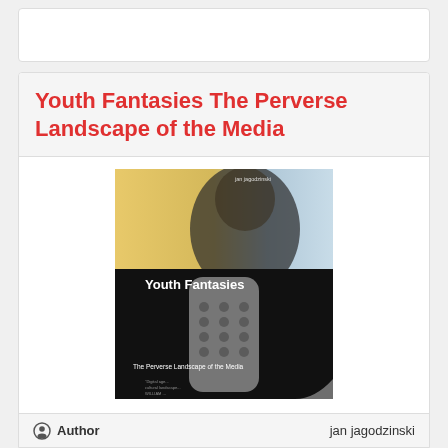Youth Fantasies The Perverse Landscape of the Media
[Figure (photo): Book cover of 'Youth Fantasies: The Perverse Landscape of the Media' by jan jagodzinski. Cover shows a blurred face of a young person on upper portion with yellow/blue background, and lower black portion shows a TV remote control with the title text 'Youth Fantasies' and subtitle 'The Perverse Landscape of the Media' in white text.]
Author   jan jagodzinski